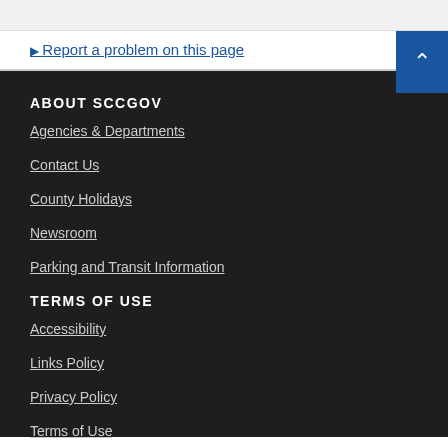Report a problem on this page
ABOUT SCCGOV
Agencies & Departments
Contact Us
County Holidays
Newsroom
Parking and Transit Information
TERMS OF USE
Accessibility
Links Policy
Privacy Policy
Terms of Use